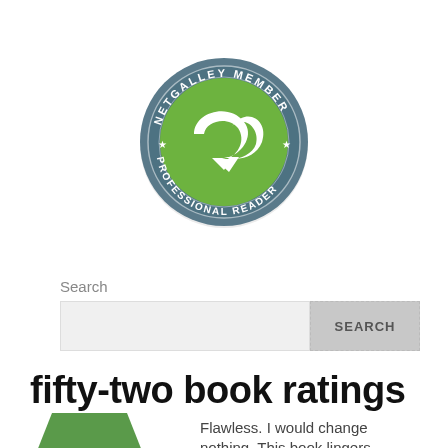[Figure (logo): NetGalley Member Professional Reader circular badge logo — teal/slate outer ring with white text reading NETGALLEY MEMBER (top arc) and PROFESSIONAL READER (bottom arc) with star icons, green swirl/arrow design in center circle]
Search
[Figure (screenshot): Search input field (light gray) with a SEARCH button (gray, dashed border) to the right]
fifty-two book ratings
Flawless. I would change nothing. This book lingers...